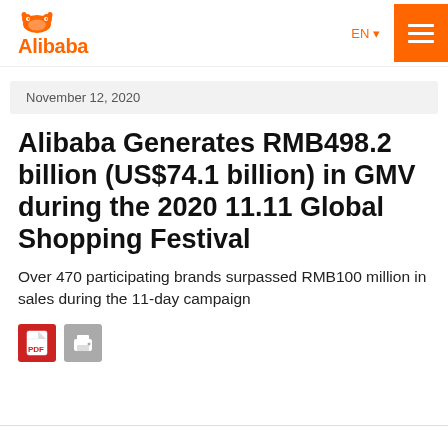[Figure (logo): Alibaba logo with orange squirrel/ant icon and orange 'Alibaba' text]
November 12, 2020
Alibaba Generates RMB498.2 billion (US$74.1 billion) in GMV during the 2020 11.11 Global Shopping Festival
Over 470 participating brands surpassed RMB100 million in sales during the 11-day campaign
[Figure (illustration): PDF download icon (red) and print icon (gray)]